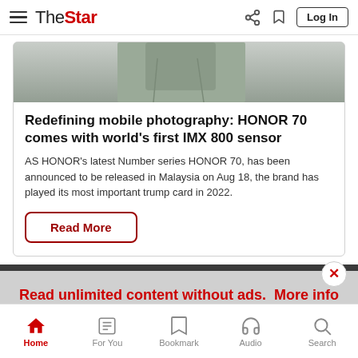The Star — navigation bar with hamburger menu, logo, share, bookmark, and Log In button
[Figure (photo): Partial photo of a person in a grey t-shirt, cropped at the top]
Redefining mobile photography: HONOR 70 comes with world's first IMX 800 sensor
AS HONOR's latest Number series HONOR 70, has been announced to be released in Malaysia on Aug 18, the brand has played its most important trump card in 2022.
Read More
Read unlimited content without ads. More info on our Premium Plan. >
Home | For You | Bookmark | Audio | Search